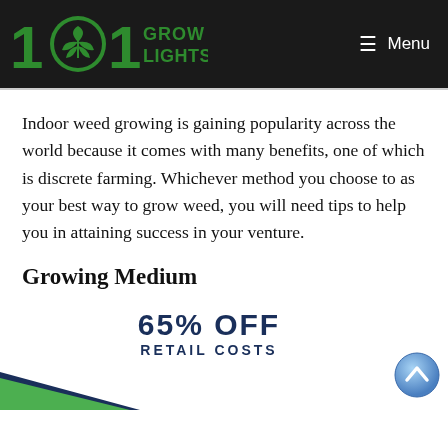[Figure (logo): 101 Grow Lights logo with cannabis leaf inside the zero, green and white text on dark background header]
Indoor weed growing is gaining popularity across the world because it comes with many benefits, one of which is discrete farming. Whichever method you choose to as your best way to grow weed, you will need tips to help you in attaining success in your venture.
Growing Medium
[Figure (infographic): Advertisement banner showing '65% OFF RETAIL COSTS' in bold dark blue text with green and dark triangular graphic design at the bottom]